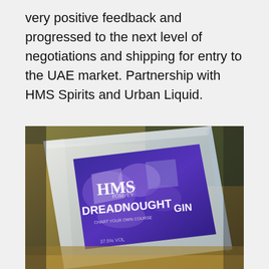very positive feedback and progressed to the next level of negotiations and shipping for entry to the UAE market. Partnership with HMS Spirits and Urban Liquid.
[Figure (photo): Close-up photograph of a glass bottle of HMS Spirits Dreadnought Gin with a purple and white world-map label, resting at an angle on a natural surface.]